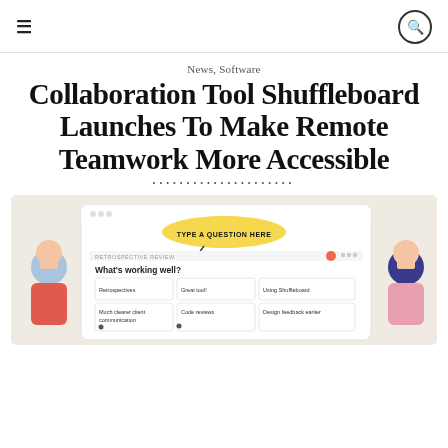≡  🔍
News, Software
Collaboration Tool Shuffleboard Launches To Make Remote Teamwork More Accessible
[Figure (screenshot): Screenshot of Shuffleboard collaboration tool UI showing a retrospective board with a yellow speech bubble prompt 'TYPE A QUESTION HERE', a 'What's working well?' section, and a grid of cards labeled Retrospectives, Great tool!, Using Shuffleboard, and other items. Two illustrated character avatars appear on the sides.]